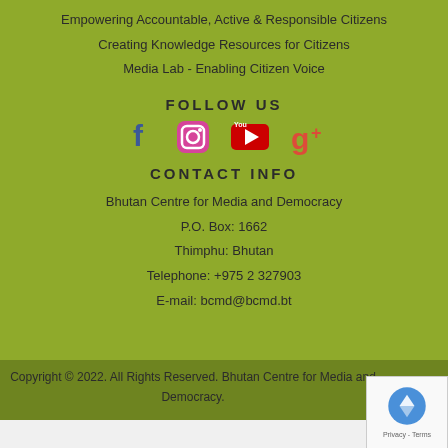Empowering Accountable, Active & Responsible Citizens
Creating Knowledge Resources for Citizens
Media Lab - Enabling Citizen Voice
FOLLOW US
[Figure (illustration): Social media icons: Facebook (blue f), Instagram (gradient camera), YouTube (red play button), Google+ (orange g+)]
CONTACT INFO
Bhutan Centre for Media and Democracy
P.O. Box: 1662
Thimphu: Bhutan
Telephone: +975 2 327903
E-mail: bcmd@bcmd.bt
Copyright © 2022. All Rights Reserved. Bhutan Centre for Media and Democracy.